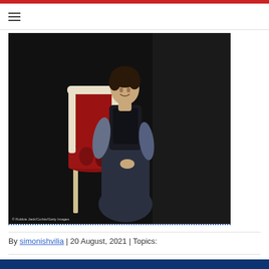[Figure (photo): A woman in a dark Victorian-style dress seated on an ornate chair with red upholstery and white/cream frame, against a dark background. Photo credit: © Robbie Jack/Corbis/Getty Images]
By simonishvilia | 20 August, 2021 | Topics: